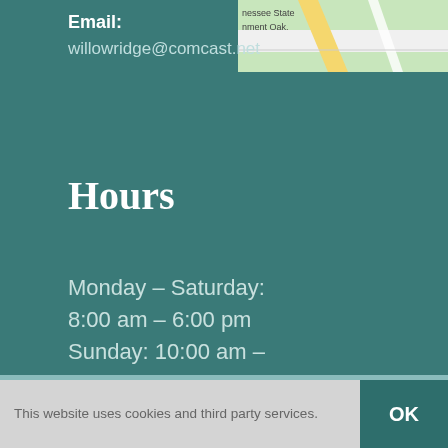Email: willowridge@comcast.net
[Figure (map): Partial map snippet showing roads near Tennessee State Government Oak area]
Hours
Monday – Saturday:
8:00 am – 6:00 pm
Sunday: 10:00 am –
5:00 pm
© Copyright 2020 - Willow Ridge Garden Center & Landscaping | All Rights Reserved | Website Designed by Above All Media | Site Map
This website uses cookies and third party services.